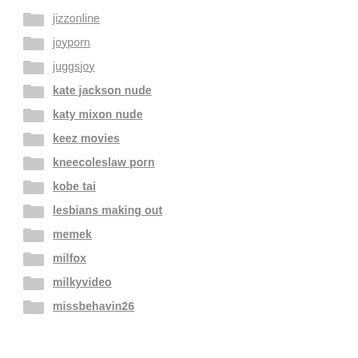jizzonline
joyporn
juggsjoy
kate jackson nude
katy mixon nude
keez movies
kneecoleslaw porn
kobe tai
lesbians making out
memek
milfox
milkyvideo
missbehavin26